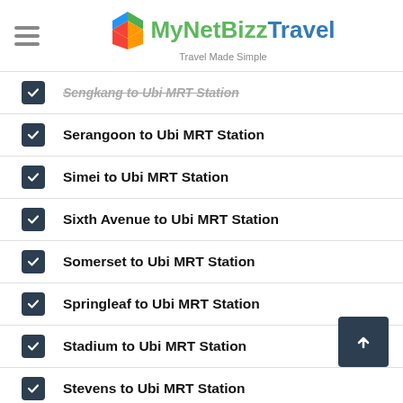MyNetBizz Travel — Travel Made Simple
[strikethrough item — partially visible]
Serangoon to Ubi MRT Station
Simei to Ubi MRT Station
Sixth Avenue to Ubi MRT Station
Somerset to Ubi MRT Station
Springleaf to Ubi MRT Station
Stadium to Ubi MRT Station
Stevens to Ubi MRT Station
Tai Seng to Ubi MRT Station
Tampines to Ubi MRT Station
Tampines East to Ubi MRT Station
Tampines West to Ubi MRT Station